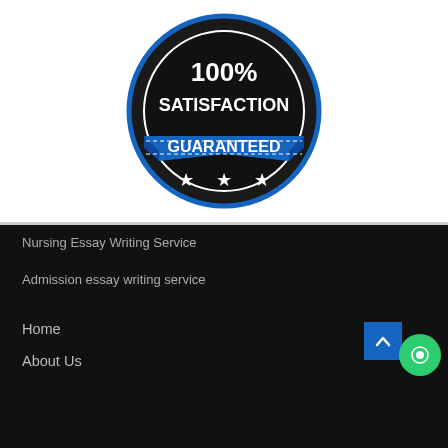[Figure (logo): 100% Satisfaction Guaranteed badge/seal with blue ribbon banner and three stars on dark circular background]
Nursing Essay Writing Service
Admission essay writing service
Home
About Us